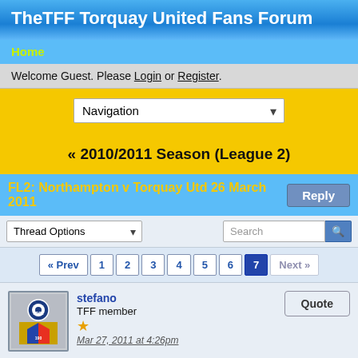TheTFF Torquay United Fans Forum
Home
Welcome Guest. Please Login or Register.
[Figure (screenshot): Navigation dropdown select box]
« 2010/2011 Season (League 2)
FL2: Northampton v Torquay Utd 26 March 2011
Reply
Thread Options dropdown and Search box
« Prev  1  2  3  4  5  6  7  Next »
stefano
TFF member
Mar 27, 2011 at 4:26pm
Quote